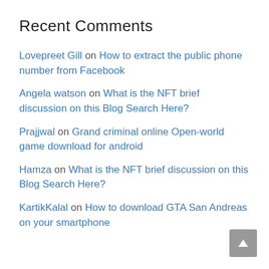Recent Comments
Lovepreet Gill on How to extract the public phone number from Facebook
Angela watson on What is the NFT brief discussion on this Blog Search Here?
Prajjwal on Grand criminal online Open-world game download for android
Hamza on What is the NFT brief discussion on this Blog Search Here?
KartikKalal on How to download GTA San Andreas on your smartphone